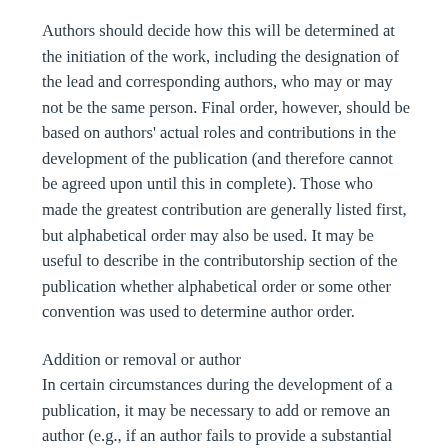Authors should decide how this will be determined at the initiation of the work, including the designation of the lead and corresponding authors, who may or may not be the same person. Final order, however, should be based on authors' actual roles and contributions in the development of the publication (and therefore cannot be agreed upon until this in complete). Those who made the greatest contribution are generally listed first, but alphabetical order may also be used. It may be useful to describe in the contributorship section of the publication whether alphabetical order or some other convention was used to determine author order.
Addition or removal or author
In certain circumstances during the development of a publication, it may be necessary to add or remove an author (e.g., if an author fails to provide a substantial contribution or approve the final version of the work). In such cases, all authors should agree to the change. Only in rare cases, such as the work substantially changing in